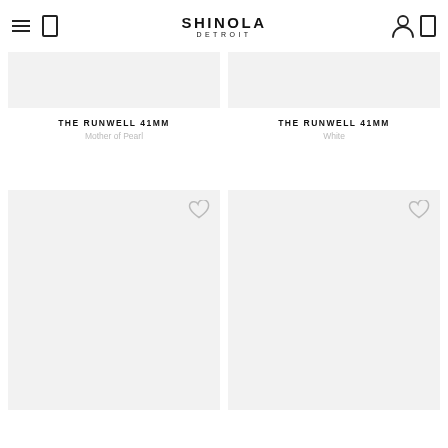SHINOLA DETROIT
THE RUNWELL 41MM
Mother of Pearl
THE RUNWELL 41MM
White
[Figure (photo): Product image placeholder — light gray background, bottom two product cards with heart/wishlist icons]
[Figure (photo): Product image placeholder — light gray background, bottom right product card with heart/wishlist icon]